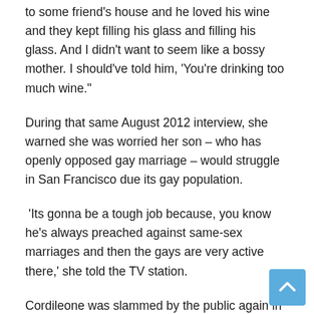to some friend's house and he loved his wine and they kept filling his glass and filling his glass. And I didn't want to seem like a bossy mother. I should've told him, 'You're drinking too much wine."
During that same August 2012 interview, she warned she was worried her son – who has openly opposed gay marriage – would struggle in San Francisco due its gay population.
'Its gonna be a tough job because, you know he's always preached against same-sex marriages and then the gays are very active there,' she told the TV station.
Cordileone was slammed by the public again in 2021, after he and several other California Roman Catholic bishops filed a motion asking judges to rule Assembly Bill 218, known as the California Child Victims Act, unconstitutional.